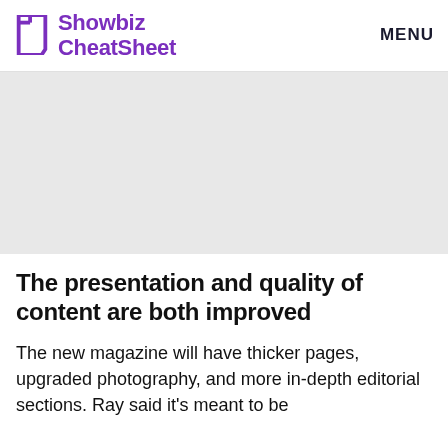Showbiz CheatSheet   MENU
[Figure (other): Gray rectangular placeholder image area]
The presentation and quality of content are both improved
The new magazine will have thicker pages, upgraded photography, and more in-depth editorial sections. Ray said it's meant to be